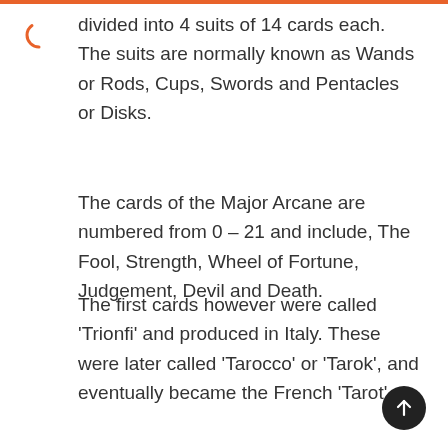divided into 4 suits of 14 cards each. The suits are normally known as Wands or Rods, Cups, Swords and Pentacles or Disks.
The cards of the Major Arcane are numbered from 0 – 21 and include, The Fool, Strength, Wheel of Fortune, Judgement, Devil and Death.
The first cards however were called 'Trionfi' and produced in Italy. These were later called 'Tarocco' or 'Tarok', and eventually became the French 'Tarot'.